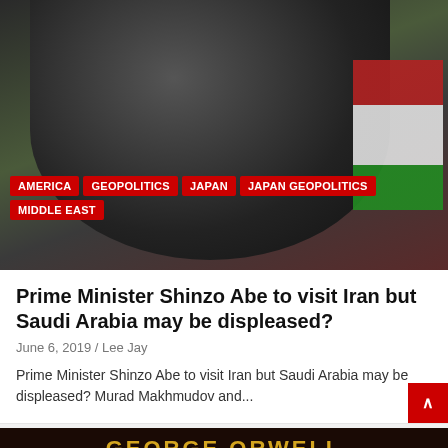[Figure (photo): A religious figure in a black turban speaking at a microphone, with an Iranian flag visible in the background. Category tags overlay the bottom of the image.]
AMERICA
GEOPOLITICS
JAPAN
JAPAN GEOPOLITICS
MIDDLE EAST
Prime Minister Shinzo Abe to visit Iran but Saudi Arabia may be displeased?
June 6, 2019 / Lee Jay
Prime Minister Shinzo Abe to visit Iran but Saudi Arabia may be displeased? Murad Makhmudov and...
[Figure (photo): Book cover showing 'GEORGE ORWELL 1984' text in gold and red on a dark background.]